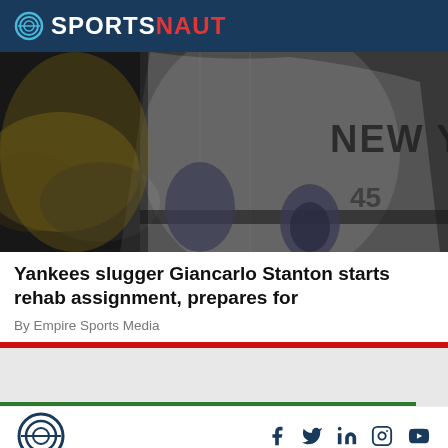SPORTSNAUT
[Figure (photo): Baseball player in New York Yankees gray uniform running, torso cropped showing jersey with 'NEW YORK' text and batting gloves]
Yankees slugger Giancarlo Stanton starts rehab assignment, prepares for
By Empire Sports Media
SPORTSNAUT logo and social media icons: Facebook, Twitter, LinkedIn, Instagram, YouTube